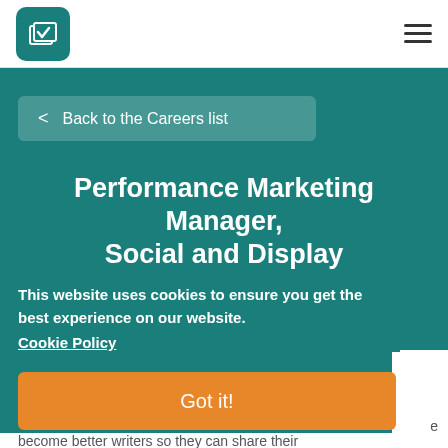[Figure (logo): Teal rounded square logo with white layered pages/checkmark icon]
Back to the Careers list
Performance Marketing Manager, Social and Display
This website uses cookies to ensure you get the best experience on our website.
Cookie Policy
Got it!
become better writers so they can share their